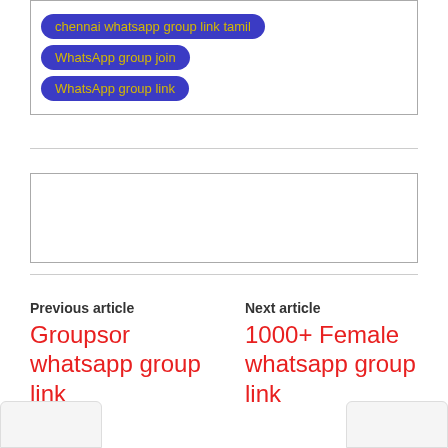chennai whatsapp group link tamil
WhatsApp group join
WhatsApp group link
[Figure (other): Empty advertisement/content box]
Previous article
Groupsor whatsapp group link
Next article
1000+ Female whatsapp group link